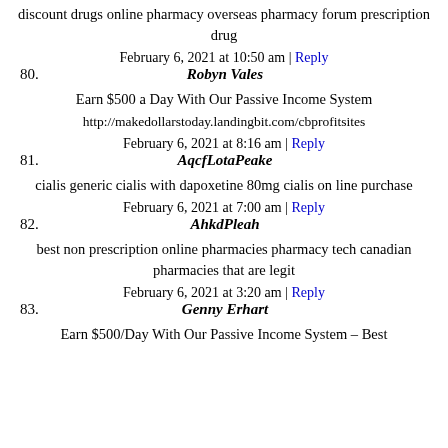discount drugs online pharmacy overseas pharmacy forum prescription drug
80. February 6, 2021 at 10:50 am | Reply
Robyn Vales
Earn $500 a Day With Our Passive Income System
http://makedollarstoday.landingbit.com/cbprofitsites
81. February 6, 2021 at 8:16 am | Reply
AqcfLotaPeake
cialis generic cialis with dapoxetine 80mg cialis on line purchase
82. February 6, 2021 at 7:00 am | Reply
AhkdPleah
best non prescription online pharmacies pharmacy tech canadian pharmacies that are legit
83. February 6, 2021 at 3:20 am | Reply
Genny Erhart
Earn $500/Day With Our Passive Income System – Best